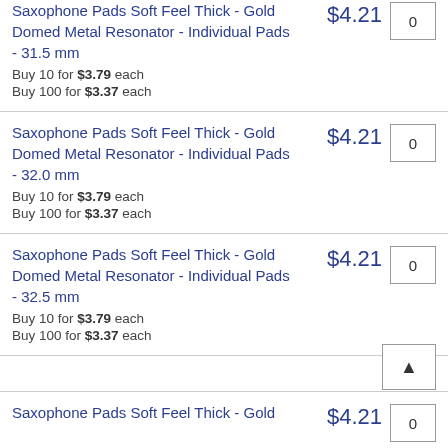Saxophone Pads Soft Feel Thick - Gold Domed Metal Resonator - Individual Pads - 31.5 mm $4.21 0
Buy 10 for $3.79 each
Buy 100 for $3.37 each
Saxophone Pads Soft Feel Thick - Gold Domed Metal Resonator - Individual Pads - 32.0 mm $4.21 0
Buy 10 for $3.79 each
Buy 100 for $3.37 each
Saxophone Pads Soft Feel Thick - Gold Domed Metal Resonator - Individual Pads - 32.5 mm $4.21 0
Buy 10 for $3.79 each
Buy 100 for $3.37 each
Saxophone Pads Soft Feel Thick - Gold Domed Metal Resonator - Individual Pads $4.21 0 (partial, cut off)